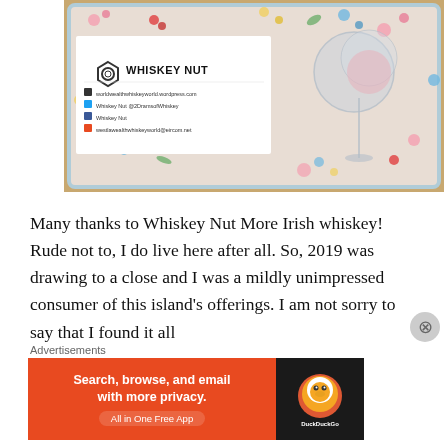[Figure (photo): Photo of a Whiskey Nut business card on a floral tray next to a wine glass. The card shows a nut icon logo, 'WHISKEY NUT' branding, and social media/contact links including worldwealthwhiskeyworld.wordpress.com, Whiskey Nut @2DramsofWhiskey, Whiskey Nut (Facebook), and westlawealthwhiskeyworld@eircom.net]
Many thanks to Whiskey Nut More Irish whiskey! Rude not to, I do live here after all. So, 2019 was drawing to a close and I was a mildly unimpressed consumer of this island's offerings. I am not sorry to say that I found it all
Advertisements
[Figure (screenshot): DuckDuckGo advertisement banner. Left orange section reads 'Search, browse, and email with more privacy. All in One Free App'. Right dark section shows DuckDuckGo duck logo.]